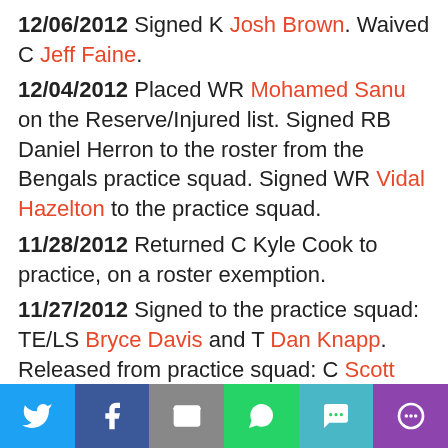12/06/2012 Signed K Josh Brown. Waived C Jeff Faine.
12/04/2012 Placed WR Mohamed Sanu on the Reserve/Injured list. Signed RB Daniel Herron to the roster from the Bengals practice squad. Signed WR Vidal Hazelton to the practice squad.
11/28/2012 Returned C Kyle Cook to practice, on a roster exemption.
11/27/2012 Signed to the practice squad: TE/LS Bryce Davis and T Dan Knapp. Released from practice squad: C Scott Wedige (signed to Arizona's 53-player roster) and LB Ben Jacobs.
11/12/2012 Signed LB Ben Jacobs to the practice squad. Waived T Jeff Adams from the practice squad.